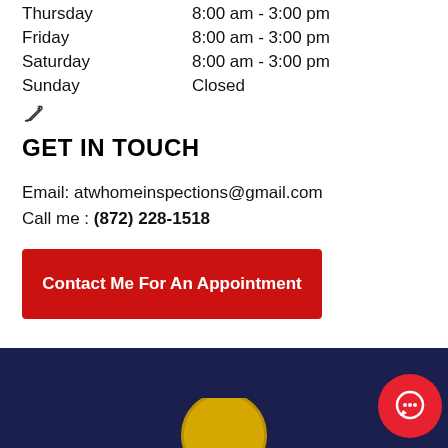Thursday    8:00 am - 3:00 pm
Friday    8:00 am - 3:00 pm
Saturday    8:00 am - 3:00 pm
Sunday    Closed
GET IN TOUCH
Email: atwhomeinspections@gmail.com
Call me : (872) 228-1518
Contact Me For An Appointment
[Figure (logo): Circular gold/yellow logo partially visible at bottom center of dark navy footer bar]
[Figure (other): Red circular chat/message button at bottom right]